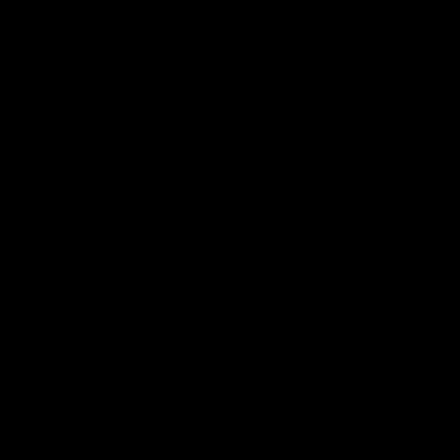Danny Stubbs feat Issa-Secrets (Remixes)-(SLRS074...
Danny Stubbs feat Issa-Secrets-(SLRS073)-WEB-20...
Danny Stubbs-Stargazer-(PTP129)-WEB-2021-LOSS...
Danny Stubbs-Waiting For The Horizon-(SLRS066)-W...
dare devils - daredevil-vinyl-2001-flac-triss
Darf-Sun Of January-(KR071)-WEB-2020-LOSSLES...
Dario G-Dream To Me-(568 902-2)-CDM-2001-LOS...
Dario G-Dream To Me-(568 902-2)-CDM-FLAC-200...
Dario G-Dream To Me-(568 903-2)-CDS-FLAC-200...
Darioef ft. Vicky Fee-2 Am-(IST023)-WEB-2008-LO...
Dark Matter-Its Not What You Think-(FOR079)-WEB...
Dark Matter-Shadows Of Depth EP-(FSOEP059)-WE...
Dark Matter-This Is What It Takes-(KSX430)-WEB-2...
Dark Matters feat Ana Criado-The Quest Of A Dream...
Dark Matters feat Jess Morgan-I Don't Believe In Mir...
Dark Matters feat Jess Morgan-The Perfect Lie-(S107...
Dark Matters feat Jess Morgan-The Real You-(S10703...
Dark Monks-Insane-CDM-FLAC-2003-MAHOU
Darkness Falls-Error 606-(ASOT440)-WEB-2017-LO...
Darkskye-The Monastery-(LOST137)-WEB-2015-LO...
Darkwinder-Voice Of Armiti Sorceress Heart-(DISCV...
Darren Porter-Alchemy-(DISCOVER93)-WEB-2012-...
Darren Porter-Culture-(DIVM025)-WEB-2012-LOSS...
Darren Porter-Whiplash-(FSOEC025)-WEB-2018-LO...
Darren Round - Tranquility Bass-(RECOVER 032)-W...
Darren Round...